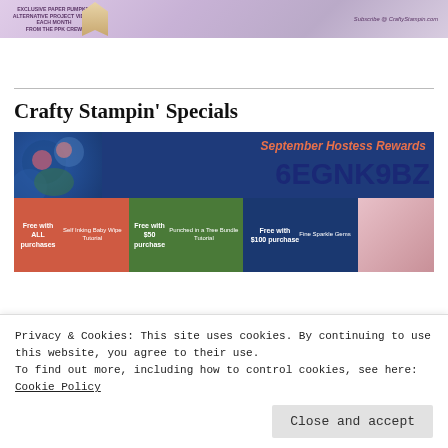[Figure (illustration): Banner ad for Exclusive Paper Pumpkin featuring text 'EXCLUSIVE PAPER PUMPKIN ALTERNATIVE PROJECT VIDEOS EACH MONTH FROM THE PPK CREW' and 'Subscribe @ CraftyStampin.com' on a purple/mauve background]
Crafty Stampin' Specials
[Figure (illustration): September Hostess Rewards promotional image with code 6EGNK9BZ, showing three offer panels: 'Free with ALL purchases', 'Free with $50 purchase', 'Free with $100 purchase']
Privacy & Cookies: This site uses cookies. By continuing to use this website, you agree to their use.
To find out more, including how to control cookies, see here: Cookie Policy
Close and accept